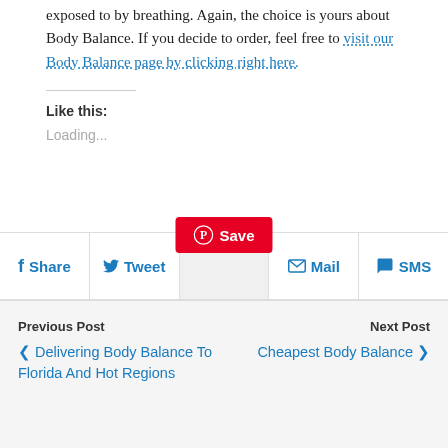exposed to by breathing. Again, the choice is yours about Body Balance. If you decide to order, feel free to visit our Body Balance page by clicking right here.
Like this:
Loading...
[Figure (infographic): Social sharing bar with Share, Tweet, Save (Pinterest), Mail, and SMS buttons]
Previous Post
❮ Delivering Body Balance To Florida And Hot Regions
Next Post
Cheapest Body Balance ❯